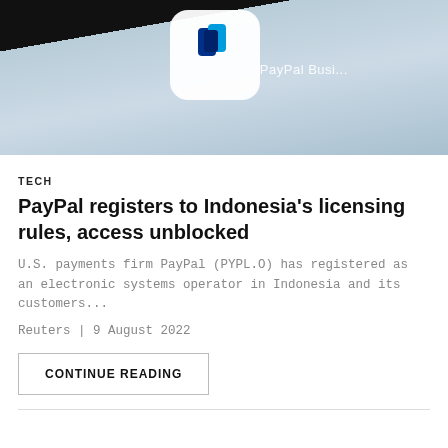[Figure (photo): Close-up photo of a smartphone screen showing the PayPal Business app icon and text 'PayPal Busi...' on a light blue/grey background with dark surroundings]
TECH
PayPal registers to Indonesia's licensing rules, access unblocked
U.S. payments firm PayPal (PYPL.O) has registered as an electronic systems operator in Indonesia and its customers...
Reuters | 9 August 2022
CONTINUE READING